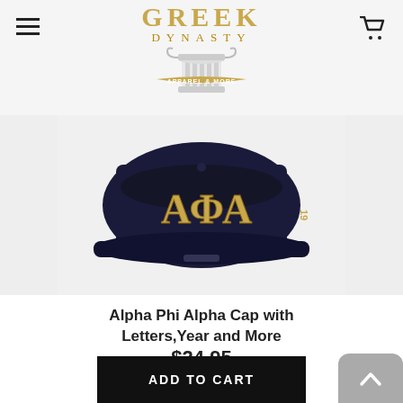Greek Dynasty Apparel & More
[Figure (photo): A navy blue visor/cap with gold embroidered Greek letters Alpha Phi Alpha (ΑΦΑ) on the front, displayed on a white background.]
Alpha Phi Alpha Cap with Letters,Year and More
$24.95
[Figure (other): Five empty/unfilled star rating icons in gray]
ADD TO CART